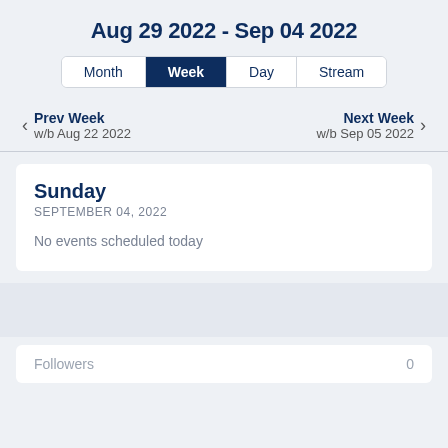Aug 29 2022 - Sep 04 2022
Month | Week | Day | Stream (navigation tabs)
Prev Week
w/b Aug 22 2022
Next Week
w/b Sep 05 2022
Sunday
SEPTEMBER 04, 2022
No events scheduled today
Followers   0